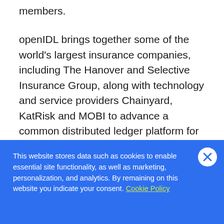members.
openIDL brings together some of the world's largest insurance companies, including The Hanover and Selective Insurance Group, along with technology and service providers Chainyard, KatRisk and MOBI to advance a common distributed ledger platform for sharing information and business processes across the insurance ecosystem.
This website stores data such as cookies to enable essential site functionality, as well as marketing, personalization, and analytics. By remaining on this website you indicate your consent. Cookie Policy